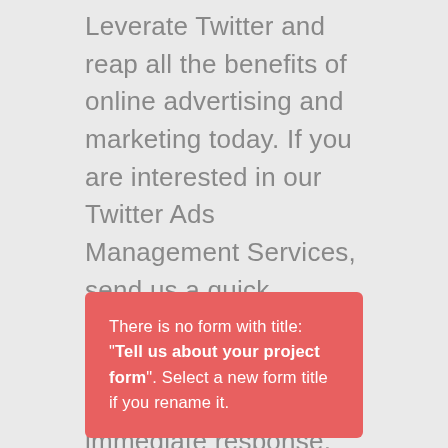Leverate Twitter and reap all the benefits of online advertising and marketing today. If you are interested in our Twitter Ads Management Services, send us a quick message now by filling out the form below. We will provide you with immediate response, along with a free quote.
There is no form with title: "Tell us about your project form". Select a new form title if you rename it.